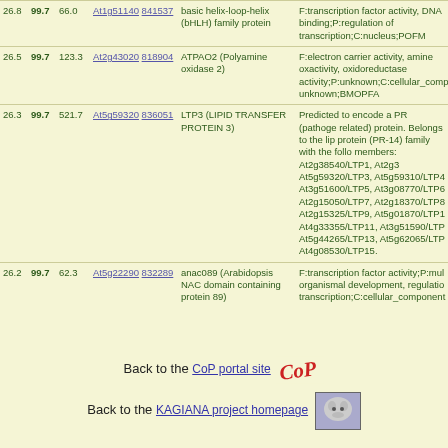| Score | Pct | Fold | Links | Name | Description |
| --- | --- | --- | --- | --- | --- |
| 26.8 | 99.7 | 66.0 | At1g51140 841537 | basic helix-loop-helix (bHLH) family protein | F:transcription factor activity, DNA binding;P:regulation of transcription;C:nucleus;POFM |
| 26.5 | 99.7 | 123.3 | At2g43020 818904 | ATPAO2 (Polyamine oxidase 2) | F:electron carrier activity, amine oxidase activity, oxidoreductase activity;P:unknown;C:cellular_component unknown;BMOPFA |
| 26.3 | 99.7 | 521.7 | At5g59320 836051 | LTP3 (LIPID TRANSFER PROTEIN 3) | Predicted to encode a PR (pathogenesis-related) protein. Belongs to the lipid transfer protein (PR-14) family... |
| 26.2 | 99.7 | 62.3 | At5g22290 832289 | anac089 (Arabidopsis NAC domain containing protein 89) | F:transcription factor activity;P:multicellular organismal development, regulation of transcription;C:cellular_component... |
Back to the CoP portal site
Back to the KAGIANA project homepage